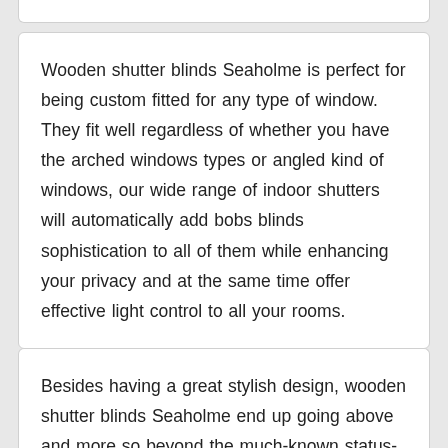Wooden shutter blinds Seaholme is perfect for being custom fitted for any type of window. They fit well regardless of whether you have the arched windows types or angled kind of windows, our wide range of indoor shutters will automatically add bobs blinds sophistication to all of them while enhancing your privacy and at the same time offer effective light control to all your rooms.
Besides having a great stylish design, wooden shutter blinds Seaholme end up going above and more so beyond the much-known status-quo attributable to any window treatment options through the provision of eco-friendly gains alongside security and also the